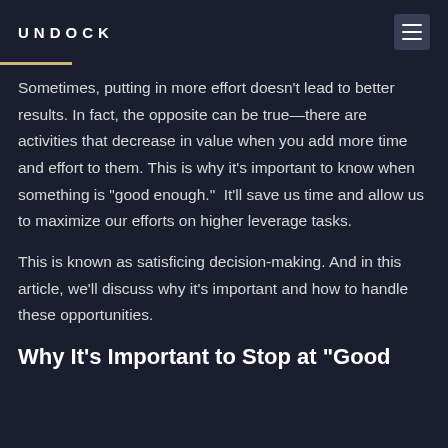UNDOCK
Sometimes, putting in more effort doesn't lead to better results. In fact, the opposite can be true—there are activities that decrease in value when you add more time and effort to them. This is why it's important to know when something is "good enough."  It'll save us time and allow us to maximize our efforts on higher leverage tasks.
This is known as satisficing decision-making. And in this article, we'll discuss why it's important and how to handle these opportunities.
Why It's Important to Stop at "Good